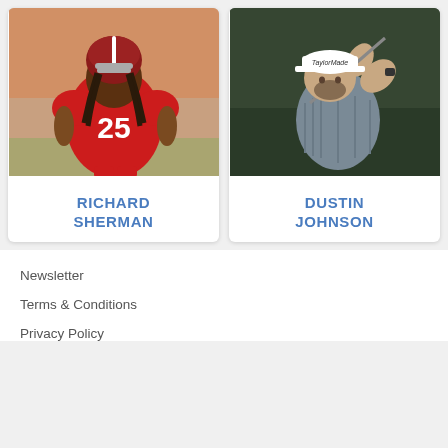[Figure (photo): Richard Sherman in red San Francisco 49ers jersey number 25, running on the football field with helmet on]
RICHARD SHERMAN
[Figure (photo): Dustin Johnson wearing a white TaylorMade cap and grey shirt, mid golf swing]
DUSTIN JOHNSON
Newsletter
Terms & Conditions
Privacy Policy